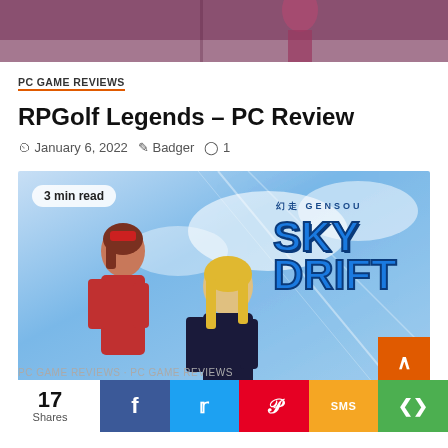[Figure (photo): Top partial image of anime character, dark background visible at top of page]
PC GAME REVIEWS
RPGolf Legends – PC Review
January 6, 2022  Badger  1
[Figure (photo): Gensou Skydrift anime game artwork showing two anime characters against a blue sky background with large Skydrift logo. Badge reads '3 min read'.]
17 Shares — social share buttons: Facebook, Twitter, Pinterest, SMS, More